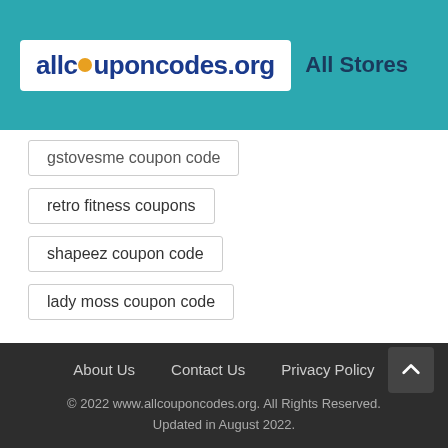allcouponcodes.org | All Stores
gstovesme coupon code
retro fitness coupons
shapeez coupon code
lady moss coupon code
About Us   Contact Us   Privacy Policy
© 2022 www.allcouponcodes.org. All Rights Reserved. Updated in August 2022.